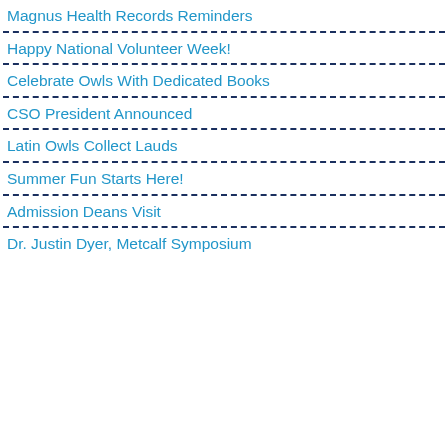Magnus Health Records Reminders
Happy National Volunteer Week!
Celebrate Owls With Dedicated Books
CSO President Announced
Latin Owls Collect Lauds
Summer Fun Starts Here!
Admission Deans Visit
Dr. Justin Dyer, Metcalf Symposium